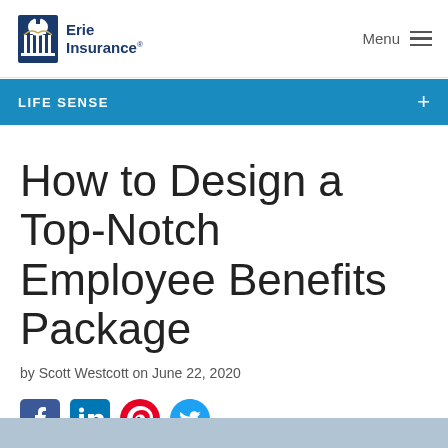Erie Insurance | Menu
LIFE SENSE
How to Design a Top-Notch Employee Benefits Package
by Scott Westcott on June 22, 2020
[Figure (other): Social media sharing icons: Facebook, LinkedIn, Pinterest, Twitter]
[Figure (photo): Bottom strip showing partial photo image]